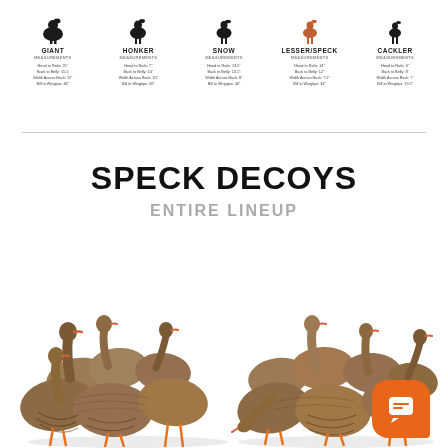[Figure (illustration): Five goose silhouettes showing Giant, Honker, Snow, Lesser/Speck, and Cackler geese with measurements listed below each]
GIANT MEASUREMENTS Head to Rails: 25" Back to Belly: 15.5 Width Across Back: 11" Bill to Wingtips: 46"
HONKER MEASUREMENTS Head to Rails: 7" Back to Belly: 14" Width Across Back: 10" Bill to Wingtips: 50"
SNOW MEASUREMENTS Head to Rails: 13.5" Back to Belly: 13.1" Width Across Back: 8" Bill to Wingtips: 40"
LESSER/SPECK MEASUREMENTS Head to Rails: 14" Back to Belly: 12" Width Across Back: 7.5" Bill to Wingtips: 34"
CACKLER MEASUREMENTS Head to Rails: 9" Back to Belly: 8" Width Across Back: 7" Bill to Wingtips: 19.5"
SPECK DECOYS
ENTIRE LINEUP
[Figure (photo): Two groups of speck/white-fronted goose decoys shown on white background, left group standing, right group in various poses including feeding. Orange chat support button in lower right corner.]